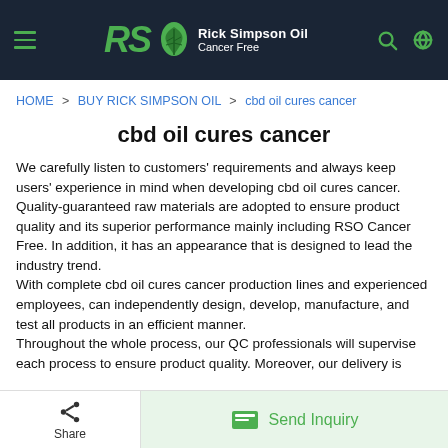Rick Simpson Oil Cancer Free
HOME > BUY RICK SIMPSON OIL > cbd oil cures cancer
cbd oil cures cancer
We carefully listen to customers' requirements and always keep users' experience in mind when developing cbd oil cures cancer. Quality-guaranteed raw materials are adopted to ensure product quality and its superior performance mainly including RSO Cancer Free. In addition, it has an appearance that is designed to lead the industry trend.
With complete cbd oil cures cancer production lines and experienced employees, can independently design, develop, manufacture, and test all products in an efficient manner.
Throughout the whole process, our QC professionals will supervise each process to ensure product quality. Moreover, our delivery is
Share | Send Inquiry